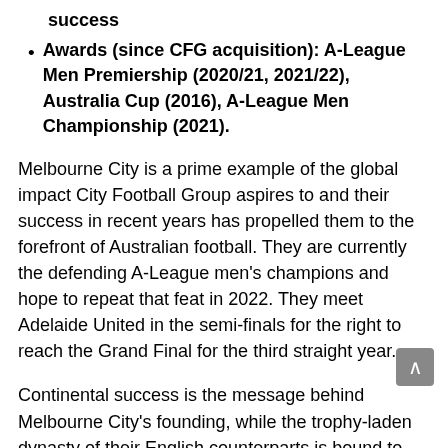success
Awards (since CFG acquisition): A-League Men Premiership (2020/21, 2021/22), Australia Cup (2016), A-League Men Championship (2021).
Melbourne City is a prime example of the global impact City Football Group aspires to and their success in recent years has propelled them to the forefront of Australian football. They are currently the defending A-League men's champions and hope to repeat that feat in 2022. They meet Adelaide United in the semi-finals for the right to reach the Grand Final for the third straight year.
Continental success is the message behind Melbourne City's founding, while the trophy-laden dynasty of their English counterparts is bound to motivate the club to seek to become the dominant force in Australia for years to come.